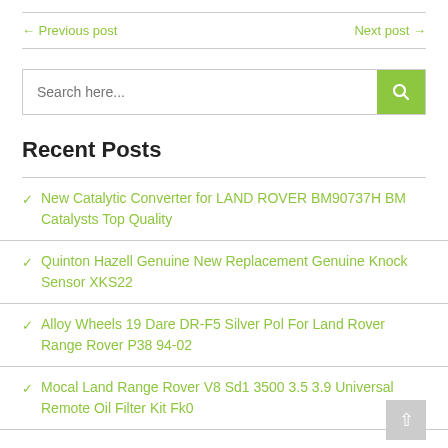← Previous post    Next post →
Search here...
Recent Posts
New Catalytic Converter for LAND ROVER BM90737H BM Catalysts Top Quality
Quinton Hazell Genuine New Replacement Genuine Knock Sensor XKS22
Alloy Wheels 19 Dare DR-F5 Silver Pol For Land Rover Range Rover P38 94-02
Mocal Land Range Rover V8 Sd1 3500 3.5 3.9 Universal Remote Oil Filter Kit Fk0